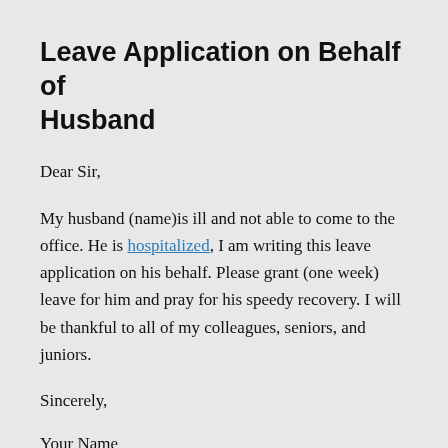Leave Application on Behalf of Husband
Dear Sir,
My husband (name)is ill and not able to come to the office. He is hospitalized, I am writing this leave application on his behalf. Please grant (one week) leave for him and pray for his speedy recovery. I will be thankful to all of my colleagues, seniors, and juniors.
Sincerely,
Your Name